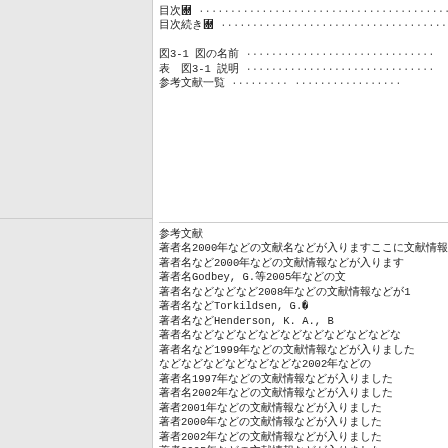目次 ……………………………………………………………………………………………………
目次続き ……………………………………………………………………………………………………
図3-1 図の名前 ……………………………………………
表　図3-1 説明 ……………………………………………
参考文献一覧 ……………………… ………………………
参考文献
著者名2000年などの文献名などが入りますここに文献情報
著者名など2000年などの文献情報などが入ります
著者名Godbey, G.等2005年などの文
著者名などなどなど2008年などの文献情報などが1
著者名などTorkildsen, G.等20
著者名などHenderson, K. A., B
著者名などなどなどなどなどなどなどなどなどな
著者名など1999年などの文献情報などが入りました
などなどなどなどなどなどなど2002年などの
著者名1997年などの文献情報などが入りました
著者名2002年などの文献情報などが入りました
著者2001年などの文献情報などが入りました
著者2000年などの文献情報などが入りました
著者2002年などの文献情報などが入りました
著者2005年などの文献情報などが入りました
著者名2008年などの文献情報などが入りました
著者名2008年などの文献情報などが入りました
などなどなどなどなどなどなどなどなどなど
著者名2004年などの文献情報などが入りました
などなどなどなど2006年などの文献情報など
著者名1993年などの文献情報などが入りました
著者名Dychtwald, M.等2003